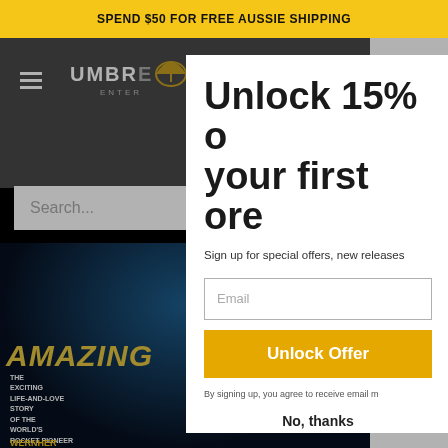SPEND $50 FOR FREE AUSSIE SHIPPING
[Figure (screenshot): Umbrella Entertainment website with hamburger menu, logo, search bar, and movie poster for Amazing (featuring text: THE EXCITING LIFE-AND-LOVE STORY OF THE WORLD'S ROCKET PIONEER WERNHER)]
Unlock 15% o your first or
Sign up for special offers, new releases
Email
Unlock Offer
By signing up, you agree to receive email m
No, thanks